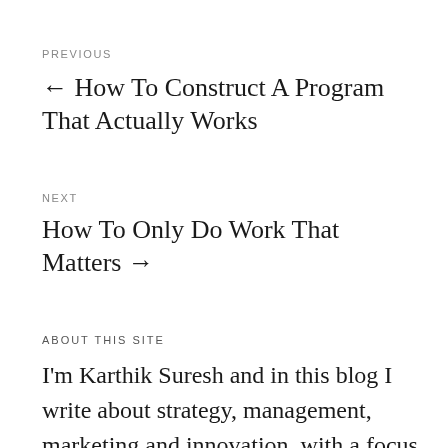PREVIOUS
← How To Construct A Program That Actually Works
NEXT
How To Only Do Work That Matters →
ABOUT THIS SITE
I'm Karthik Suresh and in this blog I write about strategy, management, marketing and innovation, with a focus on model driven